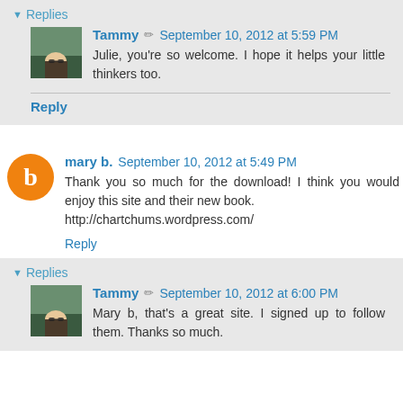▼ Replies
Tammy  September 10, 2012 at 5:59 PM
Julie, you're so welcome. I hope it helps your little thinkers too.
Reply
mary b.  September 10, 2012 at 5:49 PM
Thank you so much for the download! I think you would enjoy this site and their new book. http://chartchums.wordpress.com/
Reply
▼ Replies
Tammy  September 10, 2012 at 6:00 PM
Mary b, that's a great site. I signed up to follow them. Thanks so much.